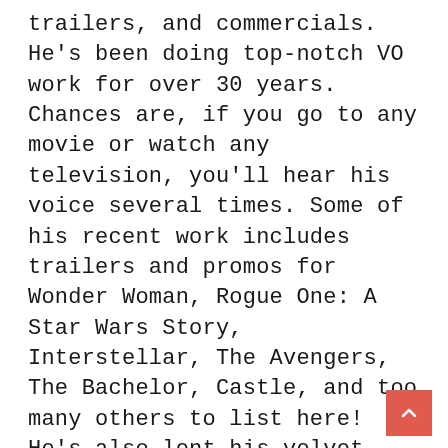trailers, and commercials. He's been doing top-notch VO work for over 30 years. Chances are, if you go to any movie or watch any television, you'll hear his voice several times. Some of his recent work includes trailers and promos for Wonder Woman, Rogue One: A Star Wars Story, Interstellar, The Avengers, The Bachelor, Castle, and too many others to list here! He's also lent his velvet vocal cords to voice characters in several series, including Justice League Unlimited, Rugrats, and Adventures in Odyssey. This is in addition to being one of the nicest, friendliest human beings we've ever had the pleasure of meeting.